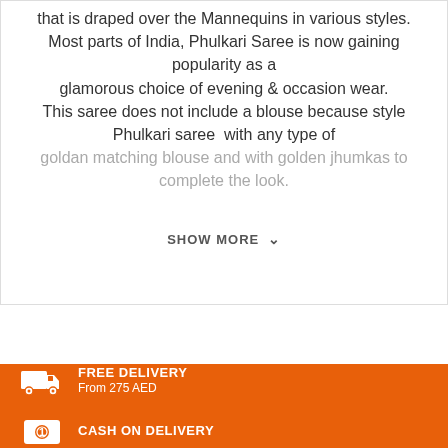that is draped over the Mannequins in various styles. Most parts of India, Phulkari Saree is now gaining popularity as a glamorous choice of evening & occasion wear. This saree does not include a blouse because style Phulkari saree  with any type of goldan matching blouse and with golden jhumkas to complete the look.
SHOW MORE
[Figure (illustration): White truck/delivery icon on orange background]
FREE DELIVERY
From 275 AED
[Figure (illustration): Cash/coin icon on orange background]
CASH ON DELIVERY